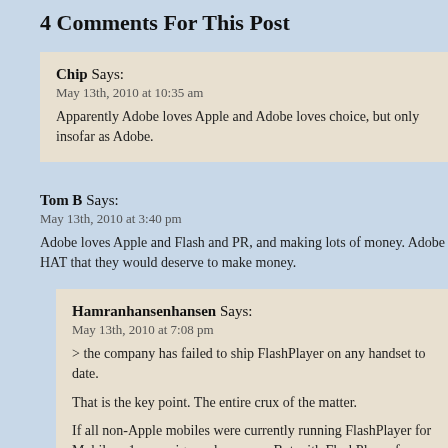4 Comments For This Post
Chip Says:
May 13th, 2010 at 10:35 am
Apparently Adobe loves Apple and Adobe loves choice, but only insofar as... Adobe.
Tom B Says:
May 13th, 2010 at 3:40 pm
Adobe loves Apple and Flash and PR, and making lots of money. Adobe HAT... that they would deserve to make money.
Hamranhansenhansen Says:
May 13th, 2010 at 7:08 pm
> the company has failed to ship FlashPlayer on any handset to date.
That is the key point. The entire crux of the matter.
If all non-Apple mobiles were currently running FlashPlayer for Mobiles v1... campaign makes sense. But with FlashPlayer for Mobiles currently 100% v... campaign is pure goon squad. They're offering Apple protection from Flash...